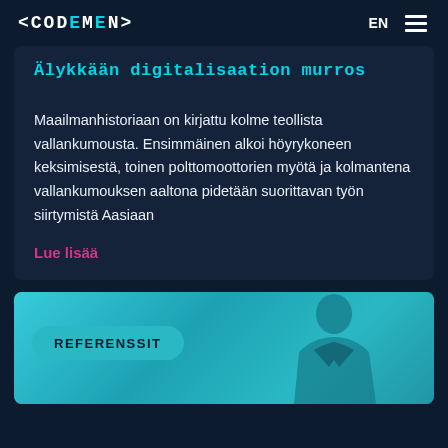<CODEMEN> EN ☰
Älykkään digitalisaation murros
Maailmanhistoriaan on kirjattu kolme teollista vallankumousta. Ensimmäinen alkoi höyrykoneen keksimisestä, toinen polttomoottorien myötä ja kolmantena vallankumouksen aaltona pidetään suorittavan työn siirtymistä Aasiaan
Lue lisää
[Figure (photo): Teal/cyan tinted photo of a person in background, with REFERENSSIT badge overlay]
REFERENSSIT